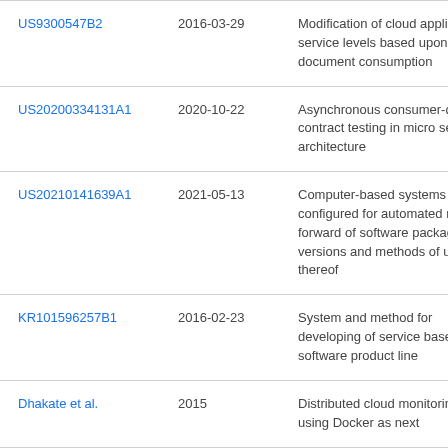| US9300547B2 | 2016-03-29 | Modification of cloud application service levels based upon document consumption |
| US20200334131A1 | 2020-10-22 | Asynchronous consumer-driven contract testing in micro service architecture |
| US20210141639A1 | 2021-05-13 | Computer-based systems configured for automated roll-forward of software package versions and methods of use thereof |
| KR101596257B1 | 2016-02-23 | System and method for developing of service based on software product line |
| Dhakate et al. | 2015 | Distributed cloud monitoring using Docker as next |